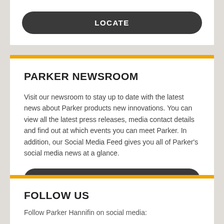LOCATE
PARKER NEWSROOM
Visit our newsroom to stay up to date with the latest news about Parker products new innovations. You can view all the latest press releases, media contact details and find out at which events you can meet Parker. In addition, our Social Media Feed gives you all of Parker's social media news at a glance.
MORE INFORMATION
FOLLOW US
Follow Parker Hannifin on social media: